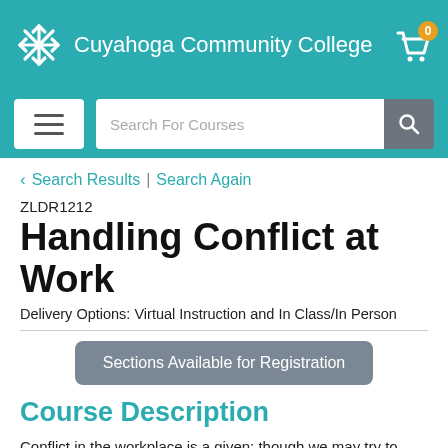Cuyahoga Community College
Search For Courses
< Search Results | Search Again
ZLDR1212
Handling Conflict at Work
Delivery Options: Virtual Instruction and In Class/In Person
Sections Available for Registration
Course Description
Conflict in the workplace is a given; though we may try to avoid it, we cannot escape it. The ability to recognize conflict,